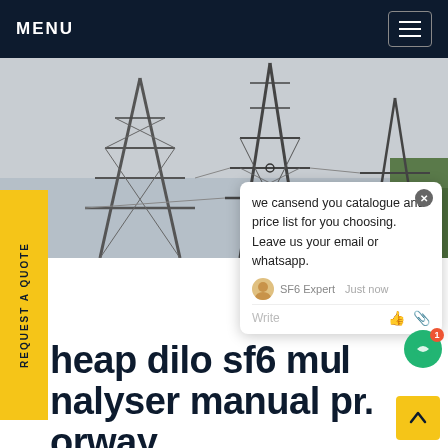MENU
[Figure (photo): Black and white photo of electrical transmission towers/pylons with steel lattice structure against a grey sky, with green vegetation visible at the right edge.]
cheap dilo sf6 multi analyser manual price norway
6/2017NDIR gaz sf6 room Network Monitor manual The GasSense NDIR gas sensor, with integrated transmitter, is an innovative measurement module for the detection of CO2, CO,